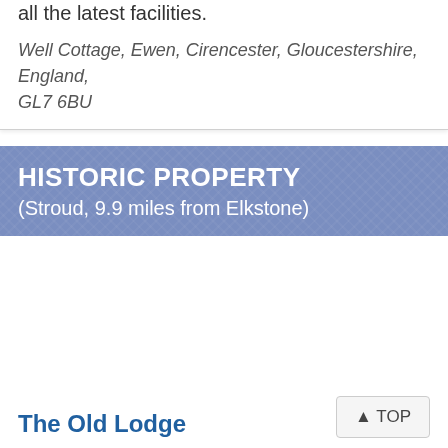all the latest facilities.
Well Cottage, Ewen, Cirencester, Gloucestershire, England, GL7 6BU
HISTORIC PROPERTY (Stroud, 9.9 miles from Elkstone)
The Old Lodge